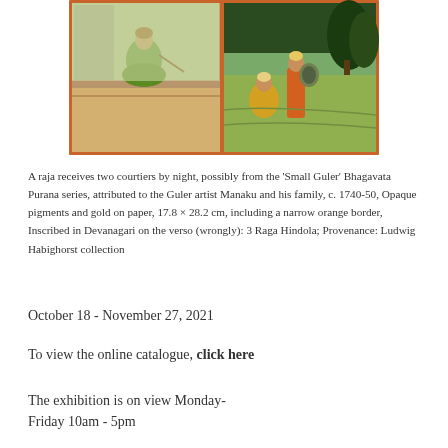[Figure (illustration): Indian miniature painting showing a raja receiving two courtiers by night; the left panel shows a seated figure in green garments on a decorated surface, the right panel shows two figures (one in yellow and one in orange clothing) in an outdoor landscape with dark trees]
A raja receives two courtiers by night, possibly from the ‘Small Guler’ Bhagavata Purana series, attributed to the Guler artist Manaku and his family, c. 1740-50, Opaque pigments and gold on paper, 17.8 × 28.2 cm, including a narrow orange border, Inscribed in Devanagari on the verso (wrongly): 3 Raga Hindola; Provenance: Ludwig Habighorst collection
October 18 - November 27, 2021
To view the online catalogue, click here
The exhibition is on view Monday-Friday 10am - 5pm